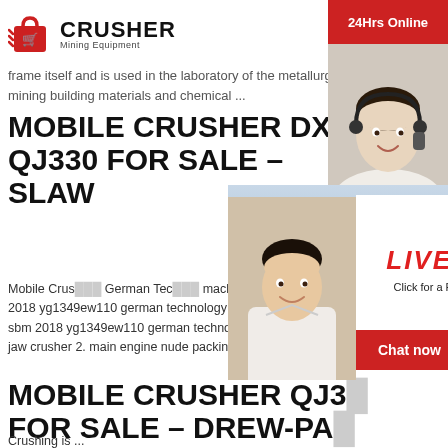CRUSHER Mining Equipment
frame itself and is used in the laboratory of the metallurgical industry mining building materials and chemical ...
MOBILE CRUSHER DXN QJ330 FOR SALE – SLAW
Mobile Crusher German Technology machine supply technical diagram 2018 yg1349ew110 german technology marble sbm 2018 yg1349ew110 german technology m jaw crusher 2. main engine nude packing,
[Figure (photo): Live chat popup overlay with workers in hard hats, LIVE CHAT text, Click for a Free Consultation, Chat now and Chat later buttons]
[Figure (photo): Right sidebar with customer service agent photo, 24Hrs Online banner, Need questions & suggestion section, Enquiry link, limingjlmofen@sina.com email]
MOBILE CRUSHER QJ3 FOR SALE – DREW-PA
Crushing is ...